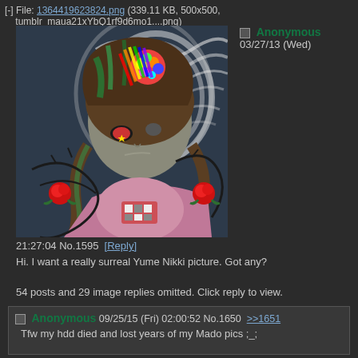File: 1364419623824.png (339.11 KB, 500x500, tumblr_maua21xYbQ1rf9d6mo1....png)
[Figure (illustration): Anime-style illustration of a girl with brown hair braids, colorful flowers on her head, grey skin, one red eye with a star, holding a pink cat-shaped bag, surrounded by dark thorny branches and red roses, with a white swirling halo-like background]
Anonymous 03/27/13 (Wed)
21:27:04 No.1595 [Reply]
Hi. I want a really surreal Yume Nikki picture. Got any?
54 posts and 29 image replies omitted. Click reply to view.
Anonymous 09/25/15 (Fri) 02:00:52 No.1650 >>1651
Tfw my hdd died and lost years of my Mado pics ;_;